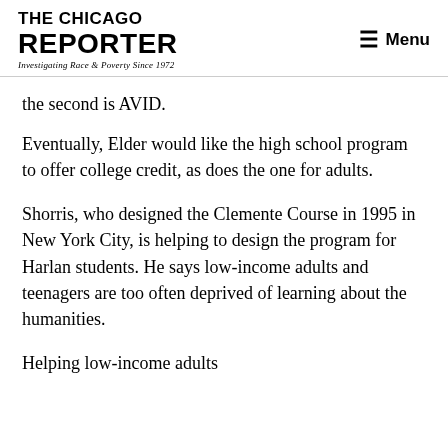THE CHICAGO REPORTER — Investigating Race & Poverty Since 1972 | Menu
the second is AVID.
Eventually, Elder would like the high school program to offer college credit, as does the one for adults.
Shorris, who designed the Clemente Course in 1995 in New York City, is helping to design the program for Harlan students. He says low-income adults and teenagers are too often deprived of learning about the humanities.
Helping low-income adults